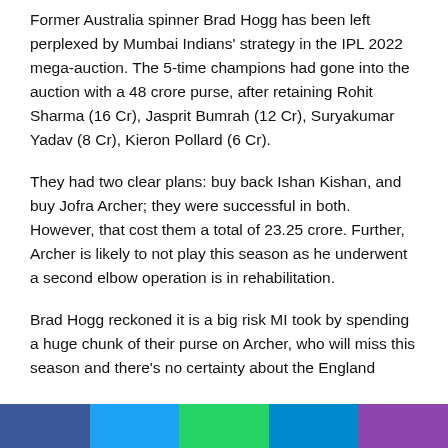Former Australia spinner Brad Hogg has been left perplexed by Mumbai Indians' strategy in the IPL 2022 mega-auction. The 5-time champions had gone into the auction with a 48 crore purse, after retaining Rohit Sharma (16 Cr), Jasprit Bumrah (12 Cr), Suryakumar Yadav (8 Cr), Kieron Pollard (6 Cr).
They had two clear plans: buy back Ishan Kishan, and buy Jofra Archer; they were successful in both. However, that cost them a total of 23.25 crore. Further, Archer is likely to not play this season as he underwent a second elbow operation is in rehabilitation.
Brad Hogg reckoned it is a big risk MI took by spending a huge chunk of their purse on Archer, who will miss this season and there's no certainty about the England